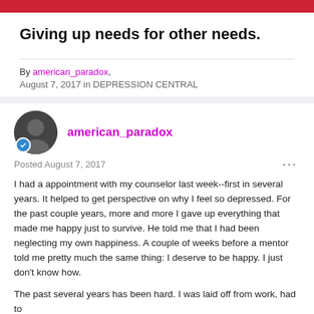Giving up needs for other needs.
By american_paradox,
August 7, 2017 in DEPRESSION CENTRAL
american_paradox
Posted August 7, 2017
I had a appointment with my counselor last week--first in several years. It helped to get perspective on why I feel so depressed. For the past couple years, more and more I gave up everything that made me happy just to survive. He told me that I had been neglecting my own happiness. A couple of weeks before a mentor told me pretty much the same thing: I deserve to be happy. I just don't know how.
The past several years has been hard. I was laid off from work, had to